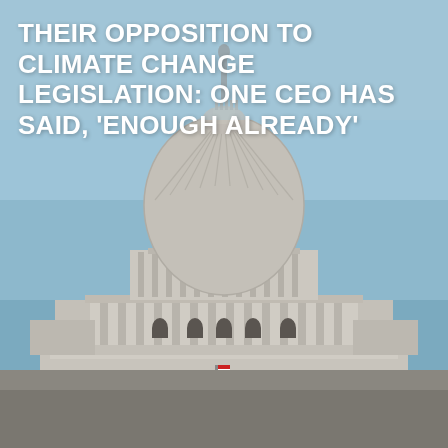THEIR OPPOSITION TO CLIMATE CHANGE LEGISLATION: ONE CEO HAS SAID, 'ENOUGH ALREADY'
[Figure (photo): Photograph of the United States Capitol building dome against a clear blue sky, showing the full facade with columns and steps]